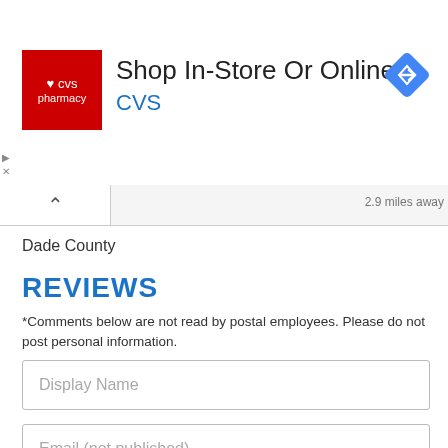[Figure (screenshot): CVS Pharmacy ad banner: red CVS logo on left, text 'Shop In-Store Or Online' and 'CVS' in blue on right, navigation arrow icon on far right]
2.9 miles away
Dade County
REVIEWS
*Comments below are not read by postal employees. Please do not post personal information.
Display Name
Email (not published)